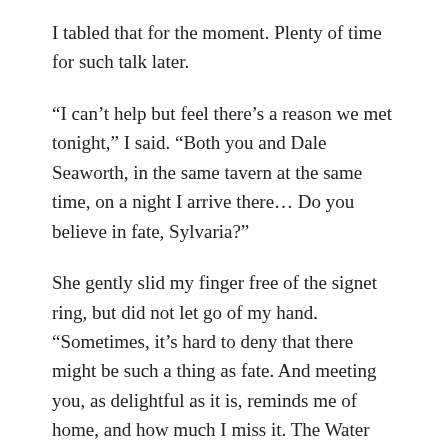I tabled that for the moment. Plenty of time for such talk later.
“I can’t help but feel there’s a reason we met tonight,” I said. “Both you and Dale Seaworth, in the same tavern at the same time, on a night I arrive there… Do you believe in fate, Sylvaria?”
She gently slid my finger free of the signet ring, but did not let go of my hand. “Sometimes, it’s hard to deny that there might be such a thing as fate. And meeting you, as delightful as it is, reminds me of home, and how much I miss it. The Water Palace, and my mother’s love, and my sisters. I should very much like to see them again.”
Something wells up in my heart. “My mother and I haven’t seen each other since I left.”